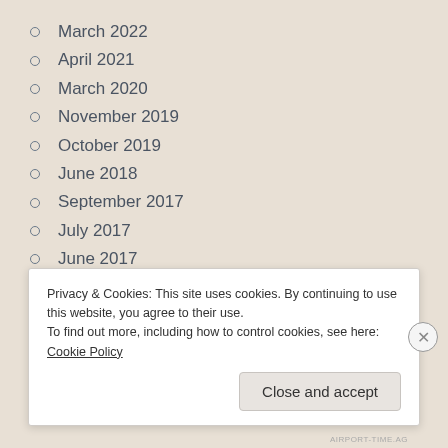March 2022
April 2021
March 2020
November 2019
October 2019
June 2018
September 2017
July 2017
June 2017
January 2017
September 2016
August 2016
Privacy & Cookies: This site uses cookies. By continuing to use this website, you agree to their use.
To find out more, including how to control cookies, see here: Cookie Policy
Close and accept